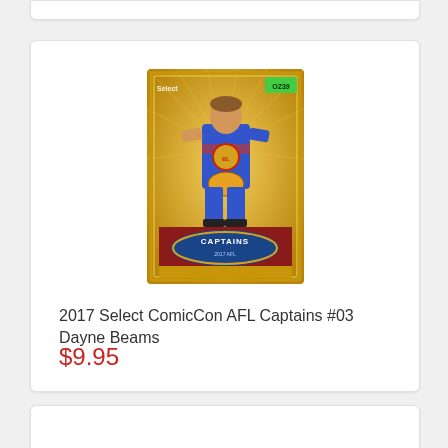[Figure (photo): AFL trading card: 2017 Select ComicCon AFL Captains #03 Dayne Beams. Gold ornate border with a player in blue and red Brisbane Lions jersey holding a football. Blue oval banner at bottom reading 'Captains'. Green badge top right corner with 'OZ39'.]
2017 Select ComicCon AFL Captains #03 Dayne Beams
$9.95